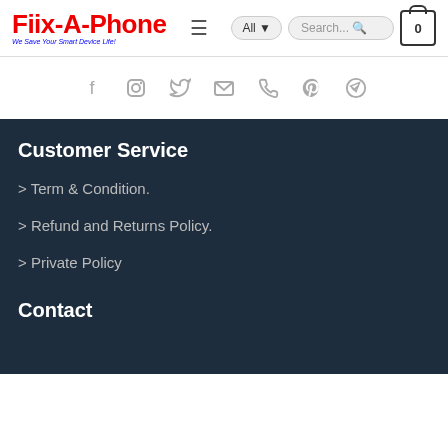Fiix-A-Phone — We Save Your Smart Device Life!
[Figure (infographic): Social media icons row: Facebook, Instagram, Twitter, Email, Phone, Pinterest, Telegram]
Customer Service
> Term & Condition.
> Refund and Returns Policy.
> Private Policy
Contact